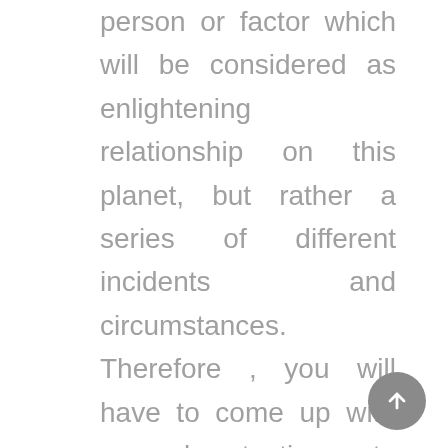person or factor which will be considered as enlightening relationship on this planet, but rather a series of different incidents and circumstances. Therefore , you will have to come up with several tactics to maintain and encourage a serene relationship between both both you and your partner. For example, consider in the event you and your partner often dispute about something like your children or finances. Rather than getting heated up up in the middle of it, you should try to find ways to resolve those problems while keeping a harmonious relationship in your way on the path to your